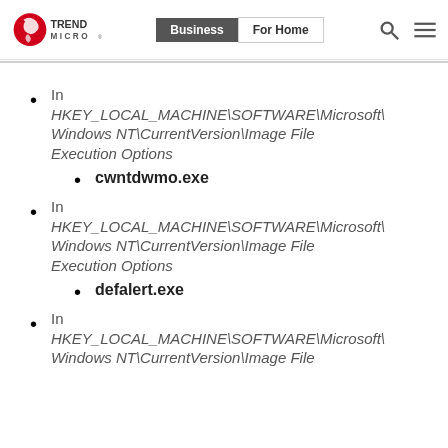Trend Micro | Business | For Home
In HKEY_LOCAL_MACHINE\SOFTWARE\Microsoft\Windows NT\CurrentVersion\Image File Execution Options
cwntdwmo.exe
In HKEY_LOCAL_MACHINE\SOFTWARE\Microsoft\Windows NT\CurrentVersion\Image File Execution Options
defalert.exe
In HKEY_LOCAL_MACHINE\SOFTWARE\Microsoft\Windows NT\CurrentVersion\Image File